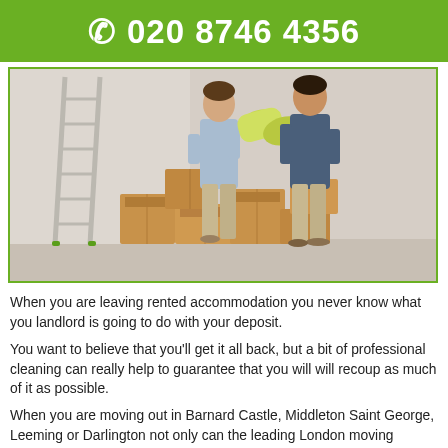☎ 020 8746 4356
[Figure (photo): Two people carrying a rolled-up carpet/rug surrounded by cardboard moving boxes, with a ladder in the background in an empty room]
When you are leaving rented accommodation you never know what you landlord is going to do with your deposit.
You want to believe that you'll get it all back, but a bit of professional cleaning can really help to guarantee that you will will recoup as much of it as possible.
When you are moving out in Barnard Castle, Middleton Saint George, Leeming or Darlington not only can the leading London moving company help you with the basics, you can also get our professional cleaners to make the space pristine...